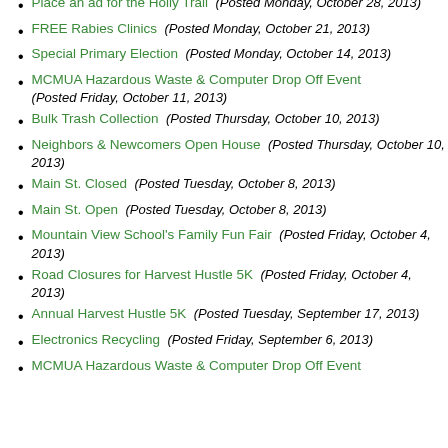Place an ad for the Holly Trail (Posted Monday, October 28, 2013)
FREE Rabies Clinics (Posted Monday, October 21, 2013)
Special Primary Election (Posted Monday, October 14, 2013)
MCMUA Hazardous Waste & Computer Drop Off Event (Posted Friday, October 11, 2013)
Bulk Trash Collection (Posted Thursday, October 10, 2013)
Neighbors & Newcomers Open House (Posted Thursday, October 10, 2013)
Main St. Closed (Posted Tuesday, October 8, 2013)
Main St. Open (Posted Tuesday, October 8, 2013)
Mountain View School's Family Fun Fair (Posted Friday, October 4, 2013)
Road Closures for Harvest Hustle 5K (Posted Friday, October 4, 2013)
Annual Harvest Hustle 5K (Posted Tuesday, September 17, 2013)
Electronics Recycling (Posted Friday, September 6, 2013)
MCMUA Hazardous Waste & Computer Drop Off Event